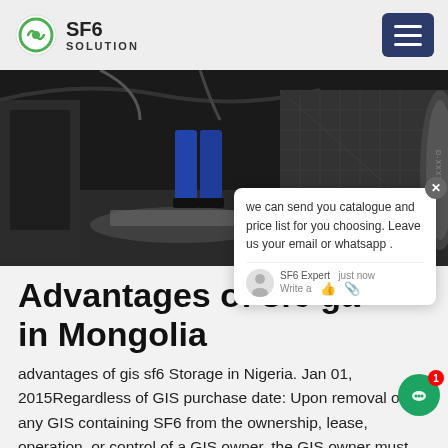SF6 SOLUTION
[Figure (photo): Industrial GIS equipment photo showing machinery interior with cables and mesh panels, worker visible]
we can send you catalogue and price list for you choosing. Leave us your email or whatsapp .
Advantages of sf6 gas in Mongolia
advantages of gis sf6 Storage in Nigeria. Jan 01, 2015Regardless of GIS purchase date: Upon removal of any GIS containing SF6 from the ownership, lease, operation, or control of a GIS owner, the GIS owner must provide for the secure